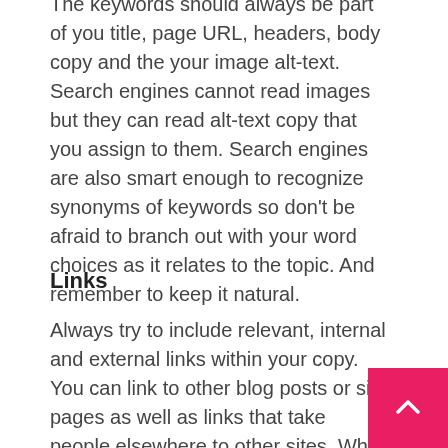The keywords should always be part of you title, page URL, headers, body copy and the your image alt-text. Search engines cannot read images but they can read alt-text copy that you assign to them. Search engines are also smart enough to recognize synonyms of keywords so don't be afraid to branch out with your word choices as it relates to the topic. And remember to keep it natural.
Links
Always try to include relevant, internal and external links within your copy. You can link to other blog posts or site pages as well as links that take people elsewhere to other sites. While the...